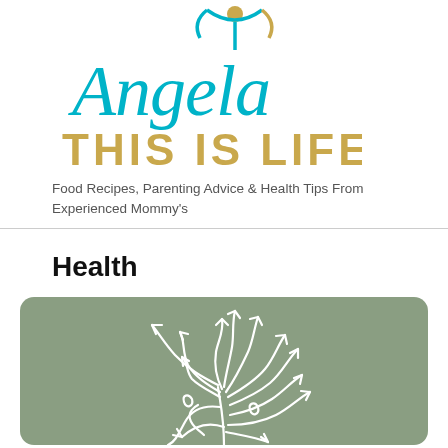[Figure (logo): Angela This Is Life blog logo — 'Angela' in cyan cursive script with a stylized person figure above, 'THIS IS LIFE' in bold golden/amber brush lettering below]
Food Recipes, Parenting Advice & Health Tips From Experienced Mommy's
Health
[Figure (illustration): A sage green card with a white illustration of tangled curving arrows pointing in many directions, suggesting complex decision-making or scattered thoughts]